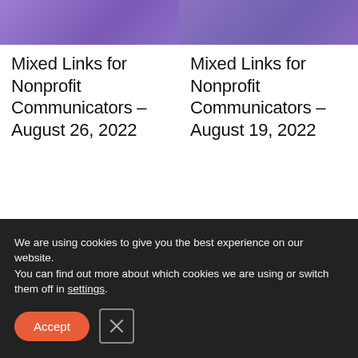[Figure (photo): Purple/violet toned image thumbnail for left card]
Mixed Links for Nonprofit Communicators – August 26, 2022
[Figure (photo): Purple/violet toned image thumbnail for right card]
Mixed Links for Nonprofit Communicators – August 19, 2022
We are using cookies to give you the best experience on our website.
You can find out more about which cookies we are using or switch them off in settings.